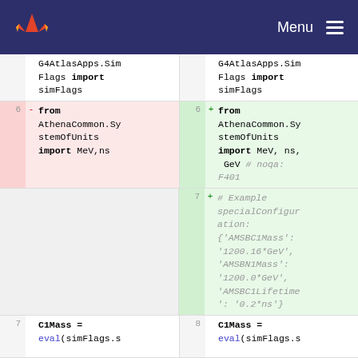GitLab — Menu
| Line Old | Sign | Code Old | Line New | Sign | Code New |
| --- | --- | --- | --- | --- | --- |
|  |  | G4AtlasApps.SimFlags import simFlags |  |  | G4AtlasApps.SimFlags import simFlags |
| 6 | - | from AthenaCommon.SystemOfUnits import MeV,ns | 6 | + | from AthenaCommon.SystemOfUnits import MeV, ns, GeV # noqa: F401 |
|  |  |  | 7 | + | # Example specialConfiguration: {'AMSBC1Mass': '1200.16*GeV', 'AMSBN1Mass': '1200.0*GeV', 'AMSBC1Lifetime': '0.2*ns'} |
| 7 |  | C1Mass = eval(simFlags.s | 8 |  | C1Mass = eval(simFlags.s |